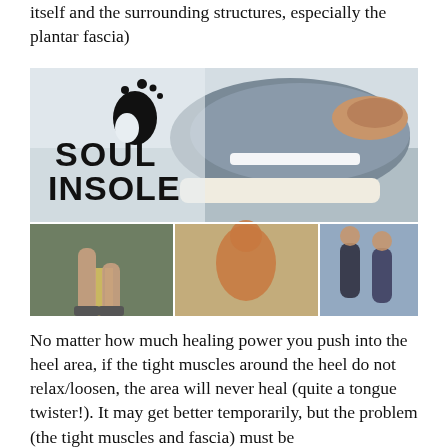itself and the surrounding structures, especially the plantar fascia)
[Figure (photo): Soul Insole product advertisement showing a shoe insole being placed into a gray canvas shoe (top image), and three smaller photos below showing runners, a person crouching, and two people standing outdoors. The brand name 'SOUL INSOLE' with a foot logo is displayed prominently.]
No matter how much healing power you push into the heel area, if the tight muscles around the heel do not relax/loosen, the area will never heal (quite a tongue twister!). It may get better temporarily, but the problem (the tight muscles and fascia) must be